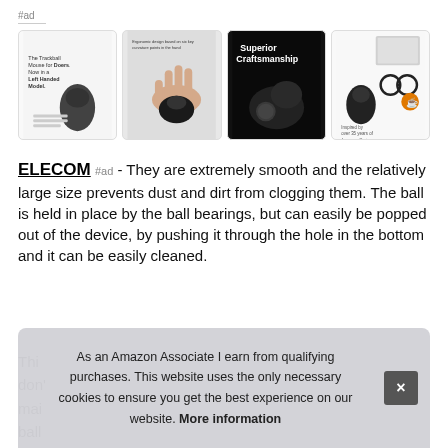#ad
[Figure (photo): Four product images of ELECOM trackball mice in a row: (1) Left-handed model with text 'The Trackball Mouse for Doers. Now in a Left Handed Model.' (2) Hand using ergonomic mouse with text about ergonomic design. (3) Black background image of trackball mouse with text 'Superior Craftsmanship'. (4) Trackball mouse with glasses and keyboard, text 'Inspired by over 35 years of Japanese Design. ELECOM']
ELECOM #ad - They are extremely smooth and the relatively large size prevents dust and dirt from clogging them. The ball is held in place by the ball bearings, but can easily be popped out of the device, by pushing it through the hole in the bottom and it can be easily cleaned.
This don' mai ball
As an Amazon Associate I earn from qualifying purchases. This website uses the only necessary cookies to ensure you get the best experience on our website. More information